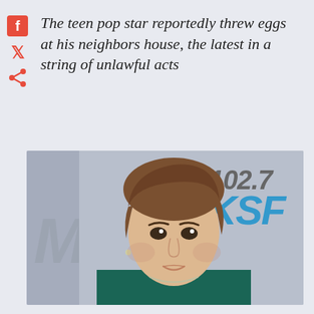The teen pop star reportedly threw eggs at his neighbors house, the latest in a string of unlawful acts
[Figure (photo): Photo of a young male celebrity (teen pop star) at what appears to be a radio station event, with '102.7 KSF' branding visible in the background]